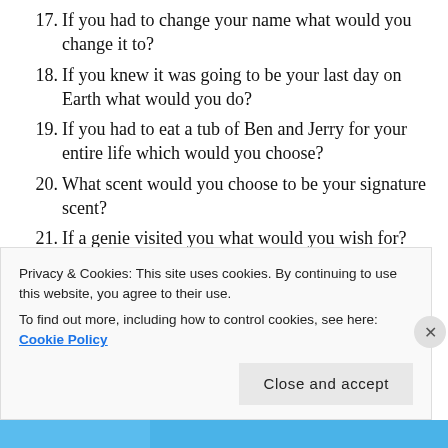17. If you had to change your name what would you change it to?
18. If you knew it was going to be your last day on Earth what would you do?
19. If you had to eat a tub of Ben and Jerry for your entire life which would you choose?
20. What scent would you choose to be your signature scent?
21. If a genie visited you what would you wish for?
22. Which Disney princess do you love/hate?
23. If you had to bathe in cereal which cereal would you pick?
Privacy & Cookies: This site uses cookies. By continuing to use this website, you agree to their use. To find out more, including how to control cookies, see here: Cookie Policy
Close and accept